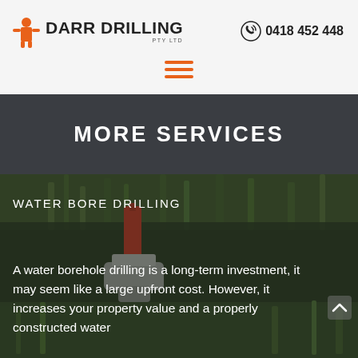DARR DRILLING PTY LTD — 0418 452 448
MORE SERVICES
[Figure (photo): Photograph of water bore drilling equipment (red pipe and grey fittings) resting on green grass, viewed from above.]
WATER BORE DRILLING
A water borehole drilling is a long-term investment, it may seem like a large upfront cost. However, it increases your property value and a properly constructed water